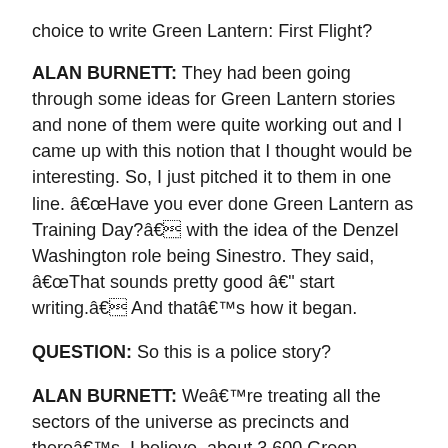choice to write Green Lantern: First Flight?
ALAN BURNETT: They had been going through some ideas for Green Lantern stories and none of them were quite working out and I came up with this notion that I thought would be interesting. So, I just pitched it to them in one line. “Have you ever done Green Lantern as Training Day?” with the idea of the Denzel Washington role being Sinestro. They said, “That sounds pretty good – start writing.” And that’s how it began.
QUESTION: So this is a police story?
ALAN BURNETT: We’re treating all the sectors of the universe as precincts and there’s, I believe, about 3,600 Green Lanterns – one for every precinct. Hal Jordan covers our section. The story is essentially Hal Jordan’s first day on the beat as a cop and he’s